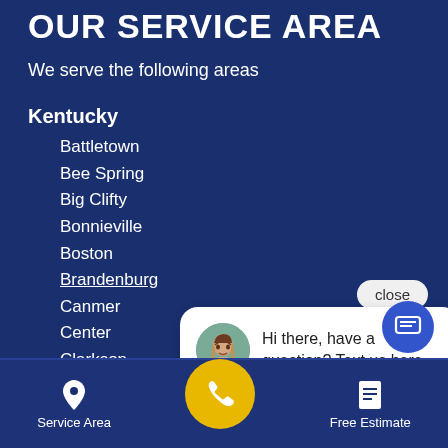OUR SERVICE AREA
We serve the following areas
Kentucky
Battletown
Bee Spring
Big Clifty
Bonnieville
Boston
Brandenburg
Canmer
Center
Clarkson
Cub Run
Custer
Ekron
close
Hi there, have a question? Text us here.
Service Area | [phone] | Free Estimate